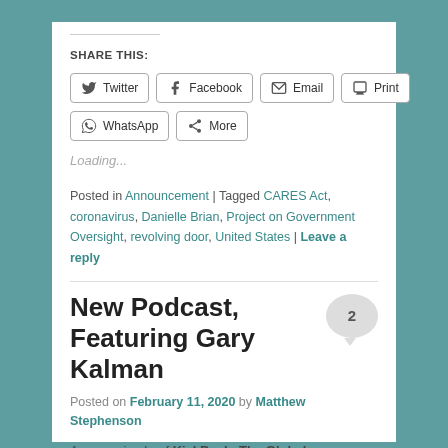SHARE THIS:
[Figure (infographic): Social share buttons: Twitter, Facebook, Email, Print, WhatsApp, More]
Loading...
Posted in Announcement | Tagged CARES Act, coronavirus, Danielle Brian, Project on Government Oversight, revolving door, United States | Leave a reply
New Podcast, Featuring Gary Kalman
Posted on February 11, 2020 by Matthew Stephenson
A new episode of KickBack: The Global Anticorruption